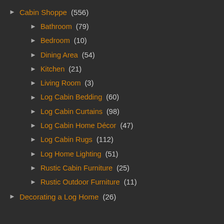Cabin Shoppe (556)
Bathroom (79)
Bedroom (10)
Dining Area (54)
Kitchen (21)
Living Room (3)
Log Cabin Bedding (60)
Log Cabin Curtains (98)
Log Cabin Home Décor (47)
Log Cabin Rugs (112)
Log Home Lighting (51)
Rustic Cabin Furniture (25)
Rustic Outdoor Furniture (11)
Decorating a Log Home (26)